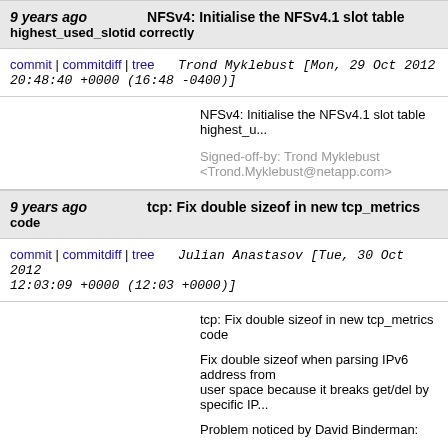9 years ago   NFSv4: Initialise the NFSv4.1 slot table highest_used_slotid correctly
commit | commitdiff | tree   Trond Myklebust [Mon, 29 Oct 2012 20:48:40 +0000 (16:48 -0400)]
NFSv4: Initialise the NFSv4.1 slot table highest_u...

Signed-off-by: Trond Myklebust <Trond.Myklebust@netapp.com>
9 years ago   tcp: Fix double sizeof in new tcp_metrics code
commit | commitdiff | tree   Julian Anastasov [Tue, 30 Oct 2012 12:03:09 +0000 (12:03 +0000)]
tcp: Fix double sizeof in new tcp_metrics code

Fix double sizeof when parsing IPv6 address from user space because it breaks get/del by specific IP...

Problem noticed by David Binderman:

https://bugzilla.kernel.org/show_bug.cgi?id=49171

Signed-off-by: Julian Anastasov <ja@ssi.bg>
Signed-off-by: David S. Miller